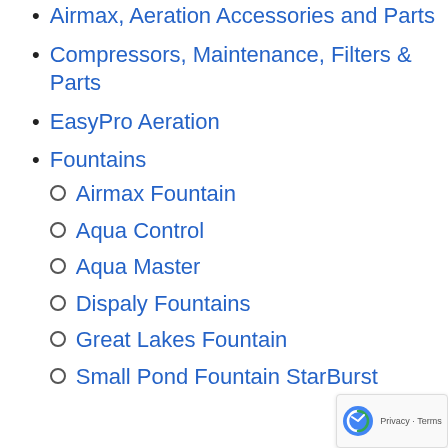Airmax, Aeration Accessories and Parts
Compressors, Maintenance, Filters & Parts
EasyPro Aeration
Fountains
Airmax Fountain
Aqua Control
Aqua Master
Dispaly Fountains
Great Lakes Fountain
Small Pond Fountain StarBurst